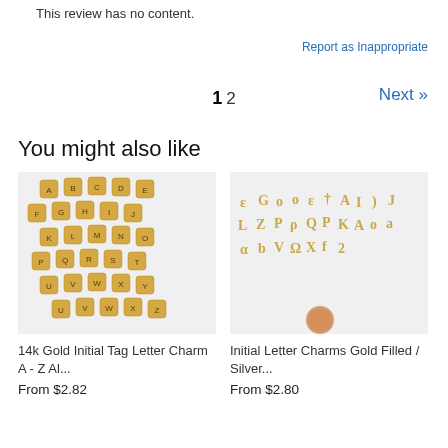This review has no content.
Report as Inappropriate
1 2  Next »
You might also like
[Figure (photo): 14k gold initial tag letter charms A-Z displayed on white background]
14k Gold Initial Tag Letter Charm A - Z Al...
From $2.82
[Figure (photo): Initial letter charms gold filled / silver displayed on white background with penny for scale]
Initial Letter Charms Gold Filled / Silver...
From $2.80